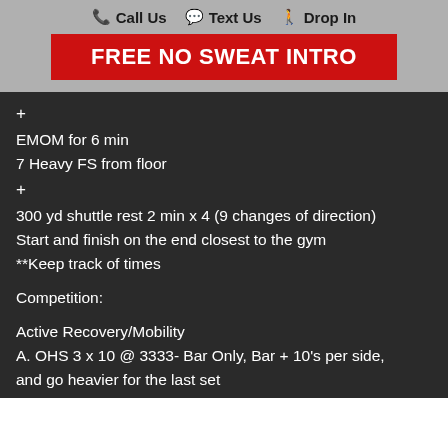📞 Call Us  💬 Text Us  🚶 Drop In
FREE NO SWEAT INTRO
+
EMOM for 6 min
7 Heavy FS from floor
+
300 yd shuttle rest 2 min x 4 (9 changes of direction)
Start and finish on the end closest to the gym
**Keep track of times
Competition:
Active Recovery/Mobility
A. OHS 3 x 10 @ 3333- Bar Only, Bar + 10's per side, and go heavier for the last set